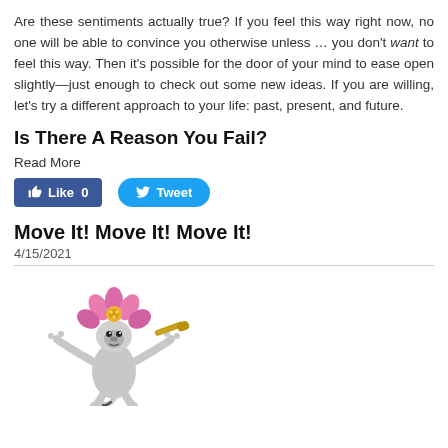Are these sentiments actually true? If you feel this way right now, no one will be able to convince you otherwise unless … you don't want to feel this way. Then it's possible for the door of your mind to ease open slightly—just enough to check out some new ideas. If you are willing, let's try a different approach to your life: past, present, and future.
Is There A Reason You Fail?
Read More
[Figure (other): Social media buttons: Facebook Like (0) and Twitter Tweet]
Move It! Move It! Move It!
4/15/2021
[Figure (illustration): Illustrated character of a dancing lemur/creature with pink flower headdress and musical instrument, from animated movie Madagascar]